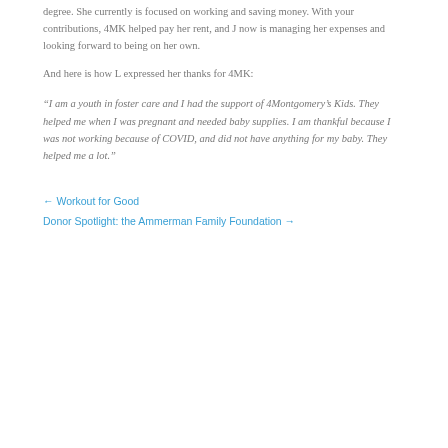degree. She currently is focused on working and saving money. With your contributions, 4MK helped pay her rent, and J now is managing her expenses and looking forward to being on her own.
And here is how L expressed her thanks for 4MK:
“I am a youth in foster care and I had the support of 4Montgomery’s Kids. They helped me when I was pregnant and needed baby supplies. I am thankful because I was not working because of COVID, and did not have anything for my baby. They helped me a lot.”
← Workout for Good
Donor Spotlight: the Ammerman Family Foundation →